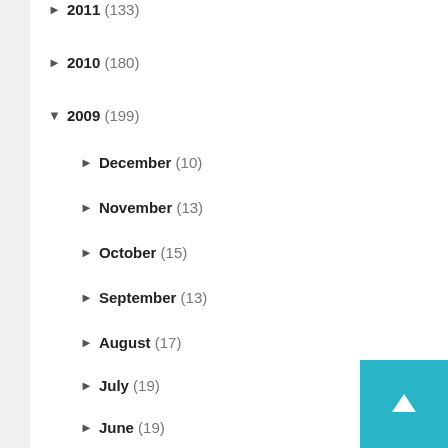► 2011 (133)
► 2010 (180)
▼ 2009 (199)
► December (10)
► November (13)
► October (15)
► September (13)
► August (17)
► July (19)
► June (19)
▼ May (19)
Fabric Friday a tad late
That Alpine Group May 2009